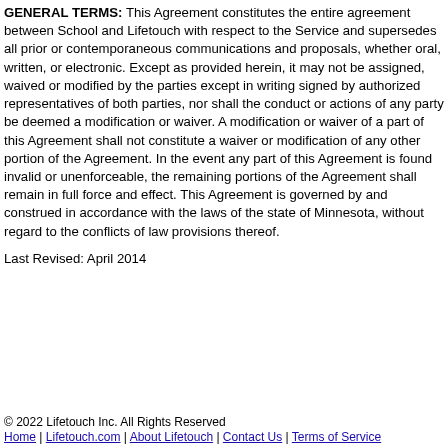GENERAL TERMS: This Agreement constitutes the entire agreement between School and Lifetouch with respect to the Service and supersedes all prior or contemporaneous communications and proposals, whether oral, written, or electronic. Except as provided herein, it may not be assigned, waived or modified by the parties except in writing signed by authorized representatives of both parties, nor shall the conduct or actions of any party be deemed a modification or waiver. A modification or waiver of a part of this Agreement shall not constitute a waiver or modification of any other portion of the Agreement. In the event any part of this Agreement is found invalid or unenforceable, the remaining portions of the Agreement shall remain in full force and effect. This Agreement is governed by and construed in accordance with the laws of the state of Minnesota, without regard to the conflicts of law provisions thereof.
Last Revised: April 2014
© 2022 Lifetouch Inc. All Rights Reserved
Home | Lifetouch.com | About Lifetouch | Contact Us | Terms of Service